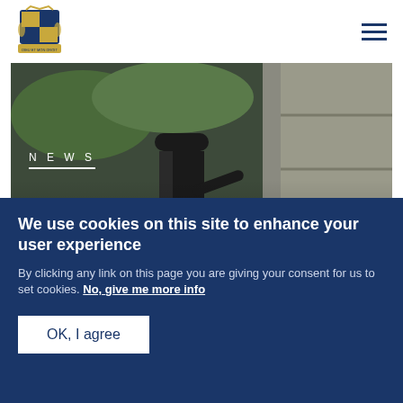[Figure (logo): UK Royal coat of arms logo in blue and gold]
[Figure (photo): Person laying a wreath or flowers at a memorial/monument, outdoor setting with greenery]
NEWS
The Duke of York visits Malaysia
Published 27 June 2016
We use cookies on this site to enhance your user experience
By clicking any link on this page you are giving your consent for us to set cookies. No, give me more info
OK, I agree